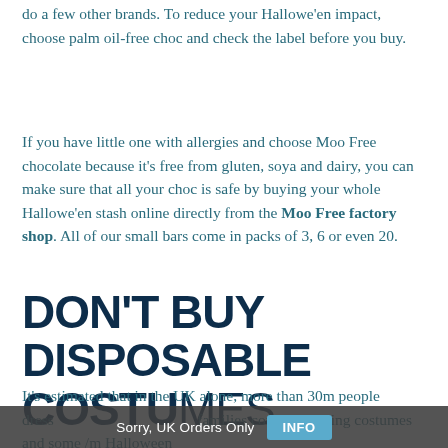do a few other brands. To reduce your Hallowe'en impact, choose palm oil-free choc and check the label before you buy.
If you have little one with allergies and choose Moo Free chocolate because it's free from gluten, soya and dairy, you can make sure that all your choc is safe by buying your whole Hallowe'en stash online directly from the Moo Free factory shop. All of our small bars come in packs of 3, 6 or even 20.
DON'T BUY DISPOSABLE COSTUMES
It's estimated that in the UK alone, more than 30m people dress up for Halloween. Over families consider buying costumes and some /m Halloween
Sorry, UK Orders Only   INFO